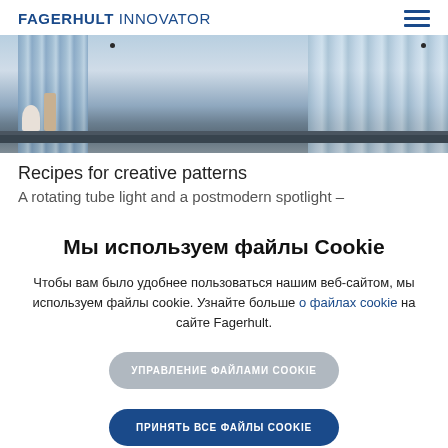FAGERHULT INNOVATOR
[Figure (photo): Interior scene with blue-gray curtains/panels in background, white rounded objects and a tall cylindrical object on a dark shelf at the bottom]
Recipes for creative patterns
A rotating tube light and a postmodern spotlight –
Мы используем файлы Cookie
Чтобы вам было удобнее пользоваться нашим веб-сайтом, мы используем файлы cookie. Узнайте больше о файлах cookie на сайте Fagerhult.
УПРАВЛЕНИЕ ФАЙЛАМИ COOKIE
ПРИНЯТЬ ВСЕ ФАЙЛЫ COOKIE